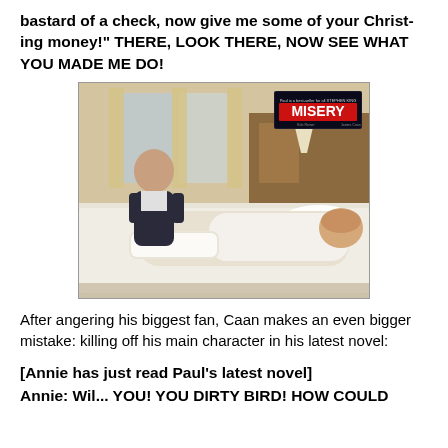bastard of a check, now give me some of your Christing money!" THERE, LOOK THERE, NOW SEE WHAT YOU MADE ME DO!
[Figure (photo): Scene from the movie Misery showing a man lying in bed with bandaged legs and a woman standing nearby. The Misery movie poster/logo is visible in the upper right corner.]
After angering his biggest fan, Caan makes an even bigger mistake: killing off his main character in his latest novel:
[Annie has just read Paul's latest novel]
Annie: Wil... YOU! YOU DIRTY BIRD! HOW COULD